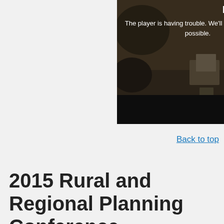[Figure (screenshot): Video player showing aerial/drone footage with a 'Player error' overlay message. The background shows a dark overhead view of buildings or structures. Text on screen reads 'Player error' and 'The player is having trouble. We’ll have it back up as soon as possible.']
Back to top
2015 Rural and Regional Planning Conference